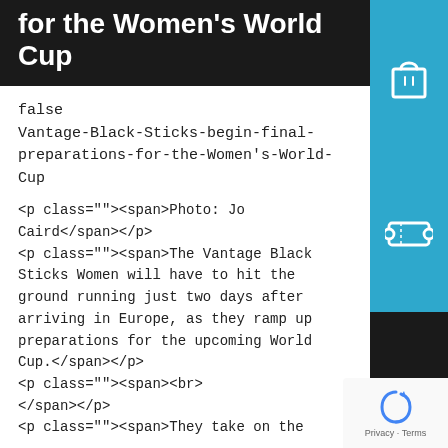for the Women's World Cup
false
Vantage-Black-Sticks-begin-final-preparations-for-the-Women's-World-Cup
<p class=""><span>Photo: Jo Caird</span></p>
<p class=""><span>The Vantage Black Sticks Women will have to hit the ground running just two days after arriving in Europe, as they ramp up preparations for the upcoming World Cup.</span></p>
<p class=""><span><br>
</span></p>
<p class=""><span>They take on the